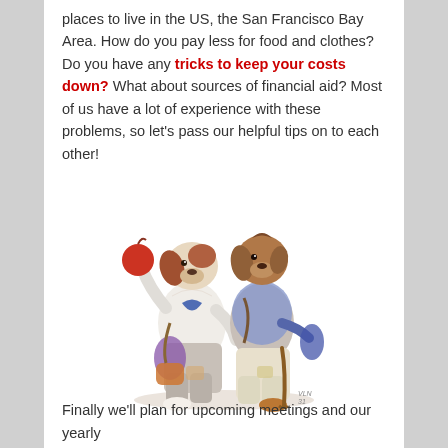places to live in the US, the San Francisco Bay Area. How do you pay less for food and clothes? Do you have any tricks to keep your costs down? What about sources of financial aid? Most of us have a lot of experience with these problems, so let's pass our helpful tips on to each other!
[Figure (illustration): Vintage illustration of two anthropomorphic dogs dressed as travelers or wanderers, wearing human clothing. The dog on the left has brown and white coloring, wearing a white shirt with a blue neckerchief and carrying bags and a rolled blanket. The dog on the right is brown, wearing a light blue jacket and white pants, carrying a cane and a blue jacket over one arm.]
Finally we'll plan for upcoming meetings and our yearly